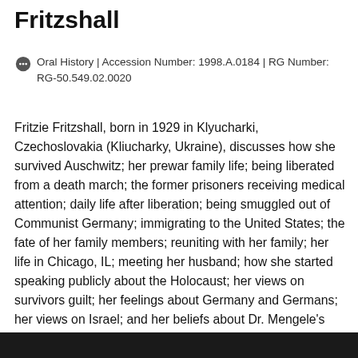Fritzshall
Oral History | Accession Number: 1998.A.0184 | RG Number: RG-50.549.02.0020
Fritzie Fritzshall, born in 1929 in Klyucharki, Czechoslovakia (Kliucharky, Ukraine), discusses how she survived Auschwitz; her prewar family life; being liberated from a death march; the former prisoners receiving medical attention; daily life after liberation; being smuggled out of Communist Germany; immigrating to the United States; the fate of her family members; reuniting with her family; her life in Chicago, IL; meeting her husband; how she started speaking publicly about the Holocaust; her views on survivors guilt; her feelings about Germany and Germans; her views on Israel; and her beliefs about Dr. Mengele's death.